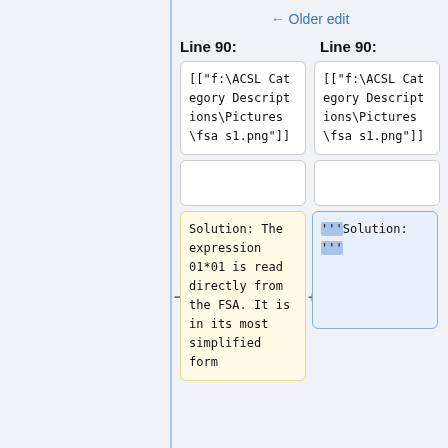← Older edit
Line 90:   Line 90:
| [["f:\\ACSL Category Descriptions\\Pictures\\fsa s1.png"]] | [["f:\\ACSL Category Descriptions\\Pictures\\fsa s1.png"]] |
| (empty) | (empty) |
| Solution: The expression 01*01 is read directly from the FSA.  It is in its most simplified form | '''Solution: ''' |